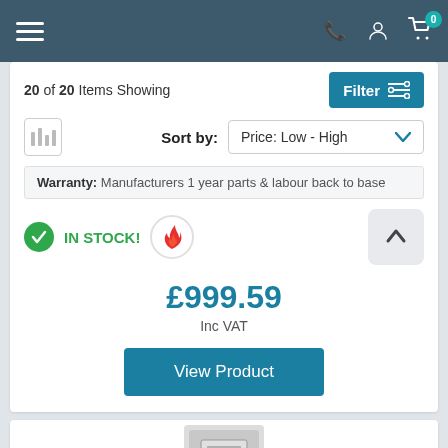Navigation bar with hamburger menu, phone, user, and cart icons (0 items)
20 of 20 Items Showing
Filter
Sort by: Price: Low - High
Warranty: Manufacturers 1 year parts & labour back to base
IN STOCK!
£999.59
Inc VAT
View Product
[Figure (screenshot): Partial view of a second product card with a boiler/appliance image at the bottom]